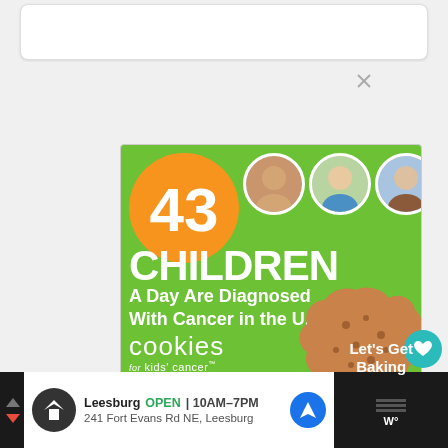[Figure (infographic): Advertisement for 'Cookies for Kids' Cancer' charity. Green background with orange circle containing '43', three circular photos of children, large white text reading 'CHILDREN A Day Are Diagnosed With Cancer in the U.S.', cookies for kids' cancer logo, cookie image, and 'Let's Get Baking' call to action.]
[Figure (infographic): Bottom advertisement banner showing Leesburg store location: OPEN 10AM-7PM, 241 Fort Evans Rd NE, Leesburg, with navigation icon and weather widget on the right.]